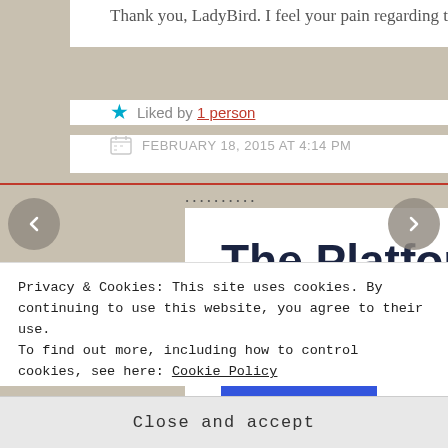Thank you, LadyBird. I feel your pain regarding the overeager young neighbor.
★ Liked by 1 person
FEBRUARY 18, 2015 AT 4:14 PM
..........
The Platform Where WordPress Works Best
[Figure (other): SEE PRICING button (blue rectangle)]
Privacy & Cookies: This site uses cookies. By continuing to use this website, you agree to their use.
To find out more, including how to control cookies, see here: Cookie Policy
Close and accept